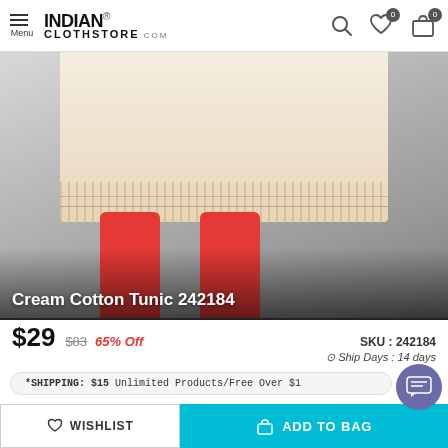INDIAN CLOTHSTORE.COM
[Figure (photo): Product photo showing lower half of a model wearing a cream cotton tunic with embroidered border and red capri leggings]
Cream Cotton Tunic 242184
$29  $83  65% Off  SKU : 242184  Ship Days : 14 days
*SHIPPING: $15 Unlimited Products/Free Over $1
Mega Sale
Flat 50% OFF on Designer Ethnic Wear
WISHLIST  ADD TO BAG